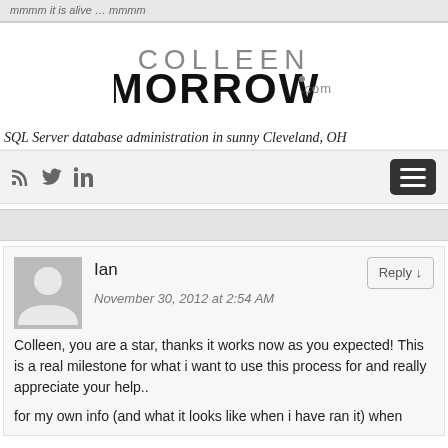mmmm it is alive … mmmm
[Figure (logo): ColleenMorrow.com logo in black and gray stylized text]
SQL Server database administration in sunny Cleveland, OH
[Figure (infographic): Navigation bar with RSS, Twitter, LinkedIn icons and hamburger menu button]
Ian
November 30, 2012 at 2:54 AM
Colleen, you are a star, thanks it works now as you expected! This is a real milestone for what i want to use this process for and really appreciate your help..

for my own info (and what it looks like when i have ran it) when